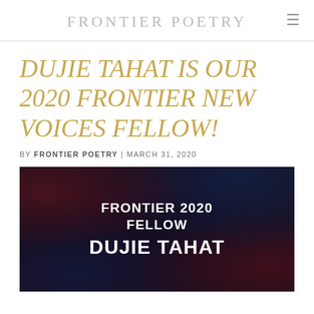FRONTIER POETRY
DUJIE TAHAT IS OUR 2020 FRONTIER NEW VOICES FELLOW!
BY FRONTIER POETRY | MARCH 31, 2020
[Figure (photo): Promotional image with dark textile/fabric background and white bold text reading: FRONTIER 2020 FELLOW DUJIE TAHAT]